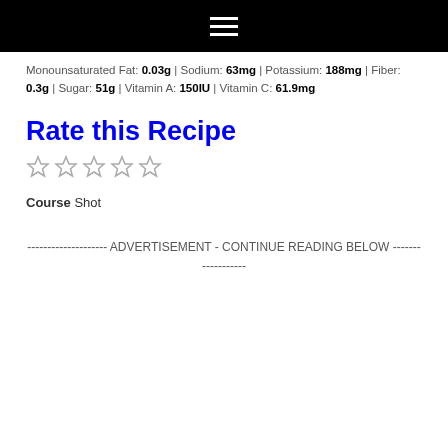Navigation menu header bar
Monounsaturated Fat: 0.03g | Sodium: 63mg | Potassium: 188mg | Fiber: 0.3g | Sugar: 51g | Vitamin A: 150IU | Vitamin C: 61.9mg
Rate this Recipe
[Figure (other): Five empty star rating icons]
Course Shot
-------------------- ADVERTISEMENT - CONTINUE READING BELOW ------------------